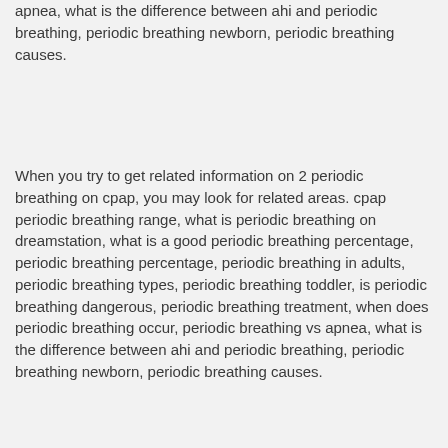apnea, what is the difference between ahi and periodic breathing, periodic breathing newborn, periodic breathing causes.
When you try to get related information on 2 periodic breathing on cpap, you may look for related areas. cpap periodic breathing range, what is periodic breathing on dreamstation, what is a good periodic breathing percentage, periodic breathing percentage, periodic breathing in adults, periodic breathing types, periodic breathing toddler, is periodic breathing dangerous, periodic breathing treatment, when does periodic breathing occur, periodic breathing vs apnea, what is the difference between ahi and periodic breathing, periodic breathing newborn, periodic breathing causes.